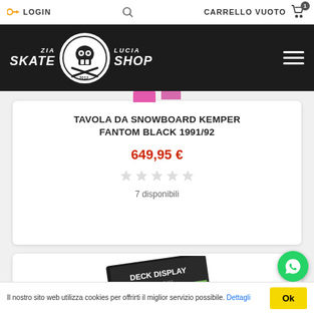LOGIN   CARRELLO VUOTO
[Figure (logo): Zia Lucia Skate Shop logo with skull on black header bar]
TAVOLA DA SNOWBOARD KEMPER FANTOM BLACK 1991/92
649,95 €
7 disponibili
[Figure (photo): Deck Display product box partially visible]
Il nostro sito web utilizza cookies per offrirti il miglior servizio possibile. Dettagli
Ok